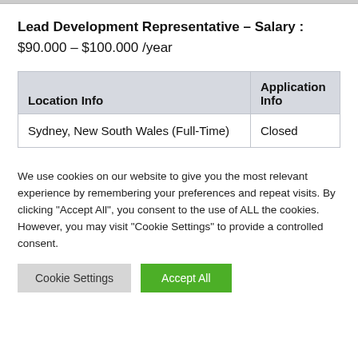Lead Development Representative – Salary : $90.000 – $100.000 /year
| Location Info | Application Info |
| --- | --- |
| Sydney, New South Wales (Full-Time) | Closed |
We use cookies on our website to give you the most relevant experience by remembering your preferences and repeat visits. By clicking "Accept All", you consent to the use of ALL the cookies. However, you may visit "Cookie Settings" to provide a controlled consent.
Cookie Settings | Accept All